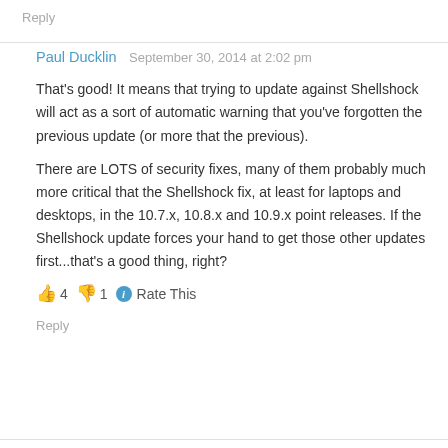Reply
Paul Ducklin   September 30, 2014 at 2:02 pm
That's good! It means that trying to update against Shellshock will act as a sort of automatic warning that you've forgotten the previous update (or more that the previous).
There are LOTS of security fixes, many of them probably much more critical that the Shellshock fix, at least for laptops and desktops, in the 10.7.x, 10.8.x and 10.9.x point releases. If the Shellshock update forces your hand to get those other updates first...that's a good thing, right?
👍 4 👎 1 ℹ Rate This
Reply